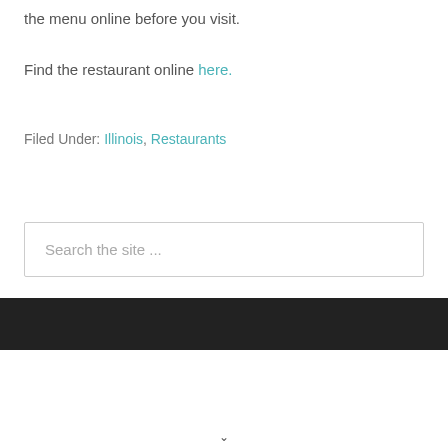the menu online before you visit.
Find the restaurant online here.
Filed Under: Illinois, Restaurants
Search the site ...